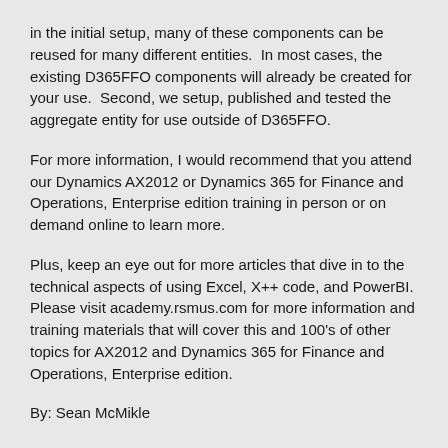in the initial setup, many of these components can be reused for many different entities.  In most cases, the existing D365FFO components will already be created for your use.  Second, we setup, published and tested the aggregate entity for use outside of D365FFO.
For more information, I would recommend that you attend our Dynamics AX2012 or Dynamics 365 for Finance and Operations, Enterprise edition training in person or on demand online to learn more.
Plus, keep an eye out for more articles that dive in to the technical aspects of using Excel, X++ code, and PowerBI. Please visit academy.rsmus.com for more information and training materials that will cover this and 100's of other topics for AX2012 and Dynamics 365 for Finance and Operations, Enterprise edition.
By: Sean McMikle